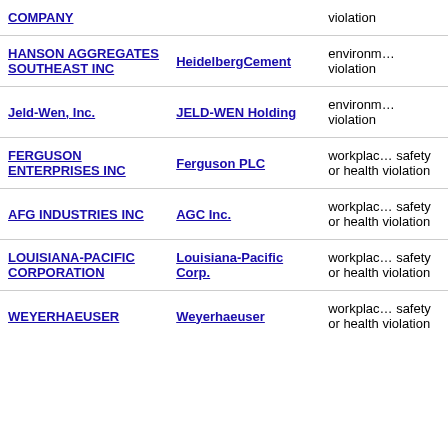| Subsidiary/Entity | Parent Company | Violation Type |
| --- | --- | --- |
| COMPANY |  | violation |
| HANSON AGGREGATES SOUTHEAST INC | HeidelbergCement | environmental violation |
| Jeld-Wen, Inc. | JELD-WEN Holding | environmental violation |
| FERGUSON ENTERPRISES INC | Ferguson PLC | workplace safety or health violation |
| AFG INDUSTRIES INC | AGC Inc. | workplace safety or health violation |
| LOUISIANA-PACIFIC CORPORATION | Louisiana-Pacific Corp. | workplace safety or health violation |
| WEYERHAEUSER | Weyerhaeuser | workplace safety or health violation |